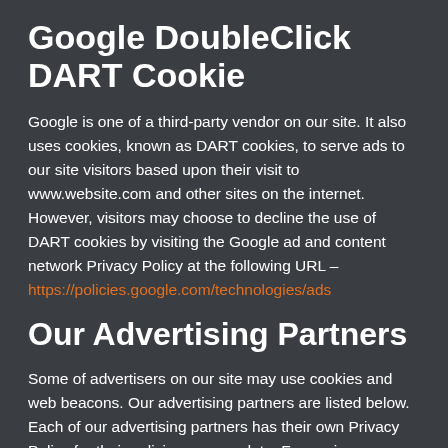Google DoubleClick DART Cookie
Google is one of a third-party vendor on our site. It also uses cookies, known as DART cookies, to serve ads to our site visitors based upon their visit to www.website.com and other sites on the internet. However, visitors may choose to decline the use of DART cookies by visiting the Google ad and content network Privacy Policy at the following URL –
https://policies.google.com/technologies/ads
Our Advertising Partners
Some of advertisers on our site may use cookies and web beacons. Our advertising partners are listed below. Each of our advertising partners has their own Privacy Policy for their policies on user data. For easier access, we hyperlinked to their Privacy Policies below.
Google
https://policies.google.com/technologies/ads
Advertising Partners Privacy